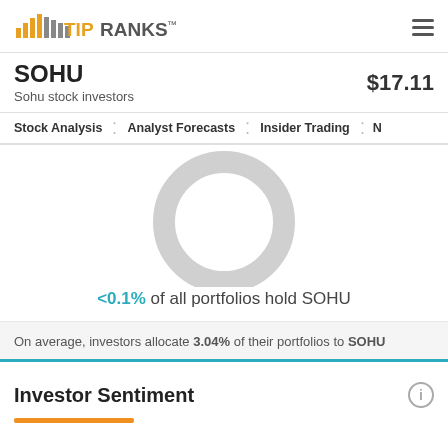TipRanks
SOHU $17.11
Sohu stock investors
Stock Analysis | Analyst Forecasts | Insider Trading | N
[Figure (donut-chart): Donut/ring chart showing portfolio holdings, nearly empty ring in grey indicating less than 0.1% of portfolios hold SOHU]
<0.1% of all portfolios hold SOHU
On average, investors allocate 3.04% of their portfolios to SOHU
Investor Sentiment